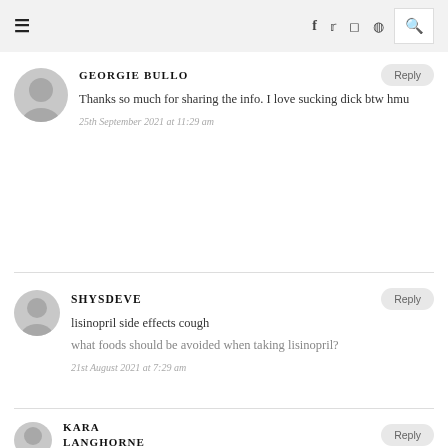Navigation bar with hamburger menu, social icons (f, Twitter, Instagram, Pinterest), and search
GEORGIE BULLO
Thanks so much for sharing the info. I love sucking dick btw hmu
25th September 2021 at 11:29 am
SHYSDEVE
lisinopril side effects cough
what foods should be avoided when taking lisinopril?
21st August 2021 at 7:29 am
KARA LANGHORNE
Reply